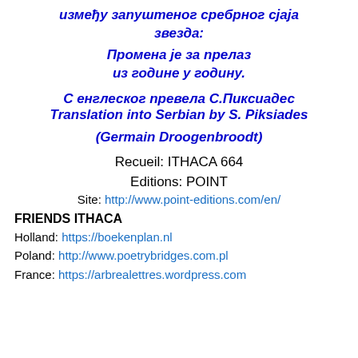између запуштеног сребрног сјаја звезда:
Промена је за прелаз из године у годину.
С енглеског превела С.Пиксиадес
Translation into Serbian by S. Piksiades
(Germain Droogenbroodt)
Recueil: ITHACA 664
Editions: POINT
Site: http://www.point-editions.com/en/
FRIENDS ITHACA
Holland: https://boekenplan.nl
Poland: http://www.poetrybridges.com.pl
France: https://arbrealettres.wordpress.com